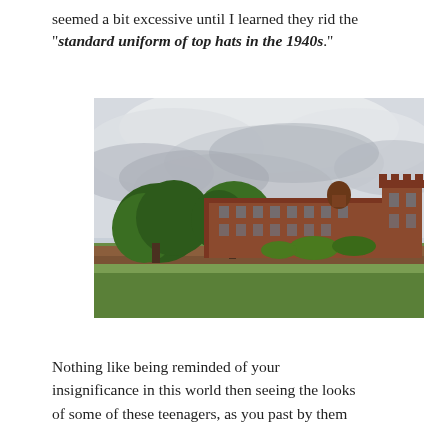seemed a bit excessive until I learned they rid the "standard uniform of top hats in the 1940s."
[Figure (photo): Outdoor photo of a historic red-brick building (likely Eton College) with trees in the foreground, a grassy field, and a dramatic overcast sky with grey clouds.]
Nothing like being reminded of your insignificance in this world then seeing the looks of some of these teenagers, as you past by them